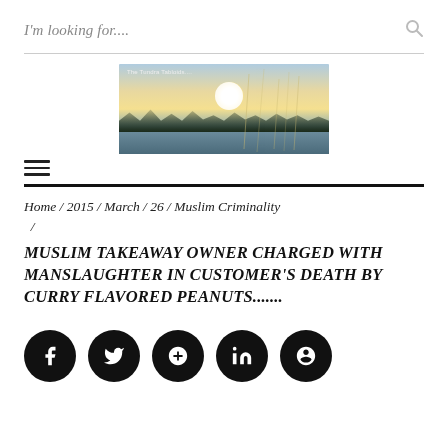I'm looking for....
[Figure (photo): Blog header photo showing a winter lake scene with sun, silhouetted trees, and reed grasses. Text overlay reads 'The Tundra Tabloids....']
Home / 2015 / March / 26 / Muslim Criminality /
MUSLIM TAKEAWAY OWNER CHARGED WITH MANSLAUGHTER IN CUSTOMER'S DEATH BY CURRY FLAVORED PEANUTS.......